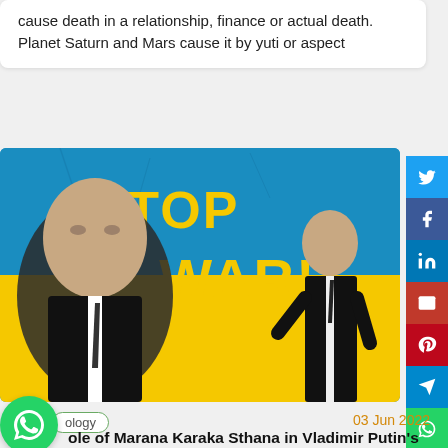cause death in a relationship, finance or actual death. Planet Saturn and Mars cause it by yuti or aspect
[Figure (photo): Image showing Vladimir Putin overlaid on a blue and yellow Ukrainian flag background with 'STOP WAR!' text in large yellow letters. Two versions of Putin are visible - a close-up of his face on the left and his full figure in a suit on the right.]
ology
03 Jun 2022
ole of Marana Karaka Sthana in Vladimir Putin's horoscope